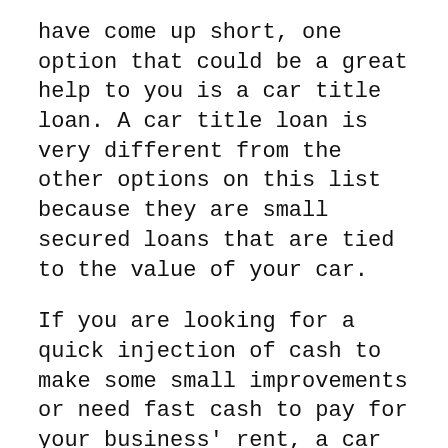have come up short, one option that could be a great help to you is a car title loan. A car title loan is very different from the other options on this list because they are small secured loans that are tied to the value of your car.
If you are looking for a quick injection of cash to make some small improvements or need fast cash to pay for your business' rent, a car title loan car be a great option.
Basically, the way they work is quite simple. You apply for your loan by using your car to qualify. That means that in order to qualify you must have a car with a lien-free loan. Car title loans typically do not require a credit score check, which can be a great thing for